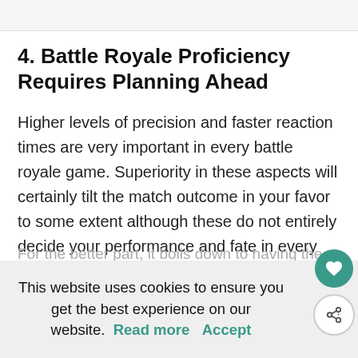4. Battle Royale Proficiency Requires Planning Ahead
Higher levels of precision and faster reaction times are very important in every battle royale game. Superiority in these aspects will certainly tilt the match outcome in your favor to some extent although these do not entirely decide your performance and fate in every match.
For the better part, it boils down to having the right strategy and the better one when the need for it arises. Playing against A... s is o...
This website uses cookies to ensure you get the best experience on our website.  Read more    Accept